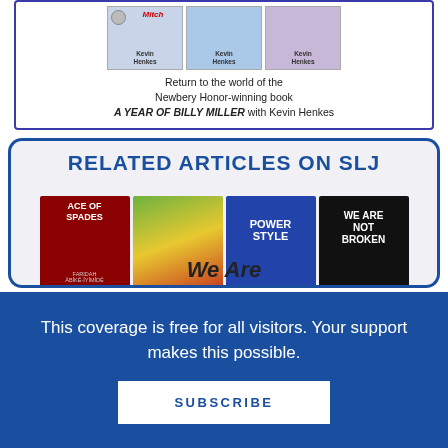[Figure (illustration): Advertisement box with three Kevin Henkes book covers and promotional text about 'A Year of Billy Miller']
Return to the world of the Newbery Honor-winning book A YEAR OF BILLY MILLER with Kevin Henkes
RELATED ARTICLES ON SLJ
[Figure (illustration): Four book covers shown in a row: Ace of Spades, a leopard/animal book, Power Style, and We Are Not Broken]
We Are
This coverage is free for all visitors. Your support makes this possible.
SUBSCRIBE